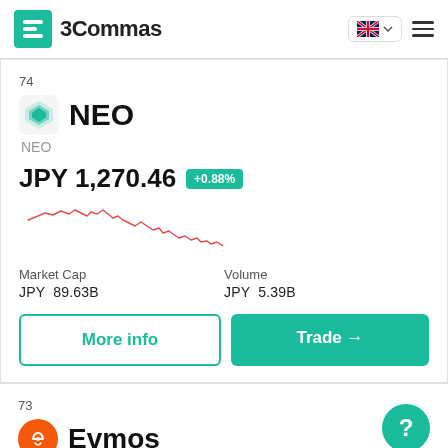3Commas
74
NEO
NEO
JPY 1,270.46 +0.88%
[Figure (line-chart): Small red line chart showing NEO price trend, generally declining]
Market Cap
JPY  89.63B
Volume
JPY  5.39B
More info
Trade →
73
Evmos
EVMOS